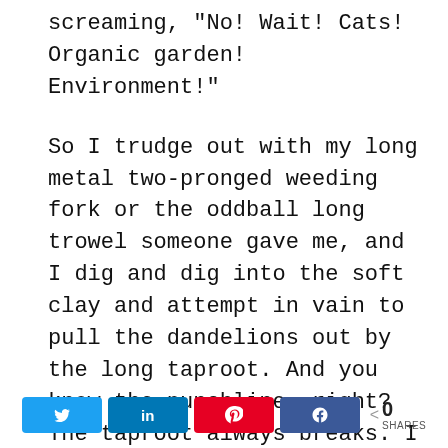screaming, “No! Wait! Cats! Organic garden! Environment!”

So I trudge out with my long metal two-pronged weeding fork or the oddball long trowel someone gave me, and I dig and dig into the soft clay and attempt in vain to pull the dandelions out by the long taproot. And you know the punchline, right? The taproot always breaks. I think dandelions take that as a challenge and
[Figure (infographic): Social share bar with Twitter, LinkedIn, Pinterest, and Facebook share buttons, and a share count showing 0 SHARES]